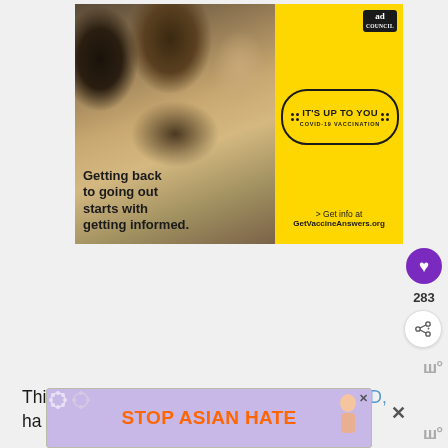[Figure (photo): Ad Council COVID-19 vaccination advertisement. Left half shows photo of smiling people at an outdoor event. Right half is yellow background with 'IT'S UP TO YOU - COVID-19 VACCINATION' badge/stamp. Text reads 'Getting back to going out starts with getting informed.' and '> Get info at GetVaccineAnswers.org']
283
This comes 10 years after Paula quit SYTYCD, ha
[Figure (photo): Stop Asian Hate advertisement banner with floral background and illustrated figure. Orange bold text reads 'STOP ASIAN HATE' on lavender/purple background.]